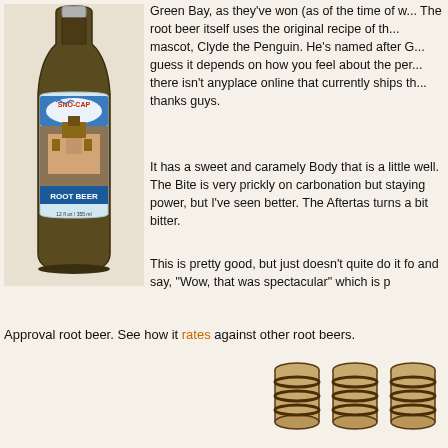[Figure (photo): Brown glass bottle of Sno-Cap Root Beer with a blue and white label showing a building and the text 'SNO-CAP ROOT BEER', 12 fl oz / 355 ml]
Green Bay, as they've won (as of the time of w... The root beer itself uses the original recipe of th... mascot, Clyde the Penguin. He's named after G... guess it depends on how you feel about the per... there isn't anyplace online that currently ships th... thanks guys.
It has a sweet and caramely Body that is a little well. The Bite is very prickly on carbonation but staying power, but I've seen better. The Aftertas turns a bit bitter.
This is pretty good, but just doesn't quite do it fo and say, "Wow, that was spectacular" which is p Approval root beer. See how it rates against other root beers.
[Figure (illustration): Three wooden barrel icons representing a rating, arranged in a row]